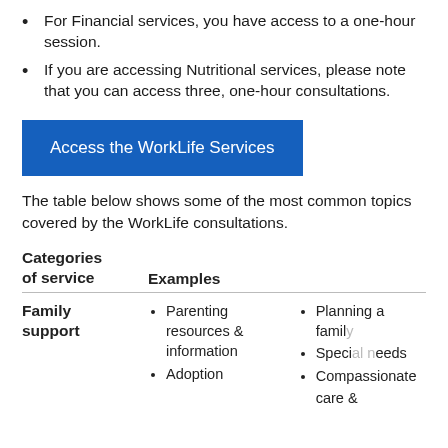For Financial services, you have access to a one-hour session.
If you are accessing Nutritional services, please note that you can access three, one-hour consultations.
Access the WorkLife Services
The table below shows some of the most common topics covered by the WorkLife consultations.
| Categories of service | Examples |  |
| --- | --- | --- |
| Family support | • Parenting resources & information
• Adoption | • Planning a family
• Special needs
• Compassionate care & |